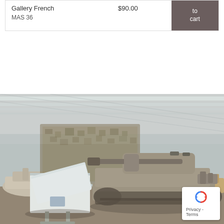| Product | Price | Action |
| --- | --- | --- |
| Gallery French MAS 36 | $90.00 | Add to cart |
[Figure (photo): Interior of a military tank museum showing several tanks including a large main battle tank in the center with camouflage netting, a white display case/information board in the foreground, and multiple other armored vehicles in the background under a large industrial roof with skylights.]